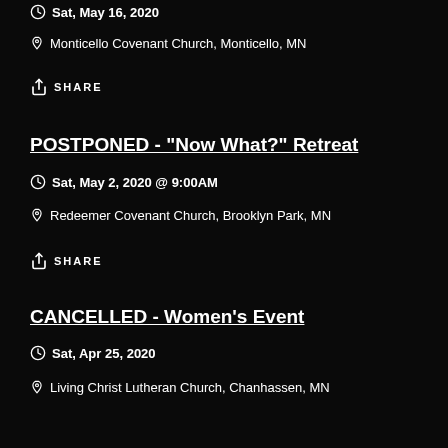Sat, May 16, 2020
Monticello Covenant Church, Monticello, MN
SHARE
POSTPONED - "Now What?" Retreat
Sat, May 2, 2020 @ 9:00AM
Redeemer Covenant Church, Brooklyn Park, MN
SHARE
CANCELLED - Women's Event
Sat, Apr 25, 2020
Living Christ Lutheran Church, Chanhassen, MN